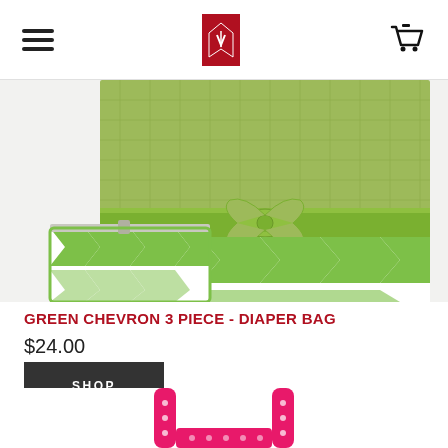Navigation header with hamburger menu, logo, and cart icon
[Figure (photo): Green chevron 3-piece diaper bag set with quilted green top and green/white chevron pattern, including small pouch and bow detail]
GREEN CHEVRON 3 PIECE - DIAPER BAG
$24.00
SHOP
[Figure (photo): Partial view of a pink polka dot diaper bag with hot pink straps]